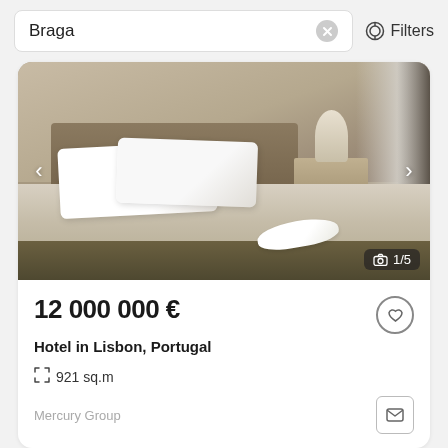Braga  Filters
[Figure (photo): Hotel room photo showing a neatly made bed with white pillows and linens, an olive/khaki bed runner, white towels folded on the bed, a nightstand with lamp and coffee machine, and curtains in the background.]
1/5
12 000 000 €
Hotel in Lisbon, Portugal
921 sq.m
Mercury Group